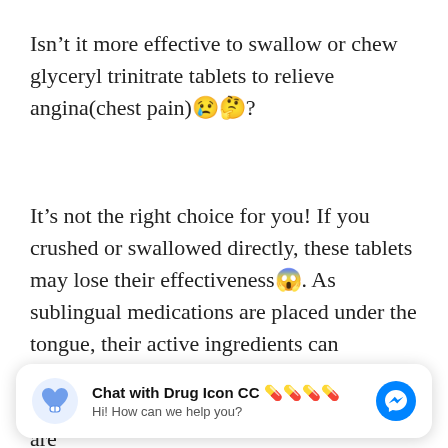Isn't it more effective to swallow or chew glyceryl trinitrate tablets to relieve angina(chest pain)😢🤔?
It's not the right choice for you! If you crushed or swallowed directly, these tablets may lose their effectiveness😱. As sublingual medications are placed under the tongue, their active ingredients can immediately relieve chest pain. After these medications dissolve under the tongue, they are
[Figure (screenshot): Chat widget overlay: blue heart-pill icon, 'Chat with Drug Icon CC 💊💊💊💊', 'Hi! How can we help you?', and a blue Messenger button on the right.]